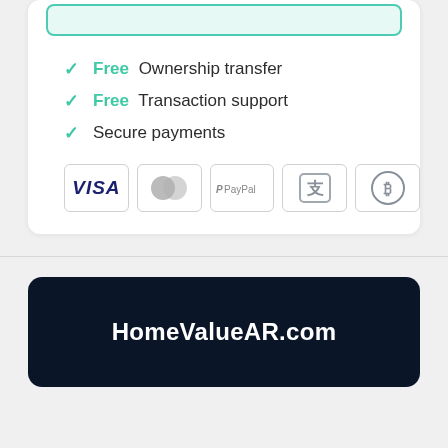✓ Free Ownership transfer
✓ Free Transaction support
✓ Secure payments
[Figure (infographic): Payment method icons: VISA, Mastercard, PayPal, Alipay, Bitcoin]
HomeValueAR.com